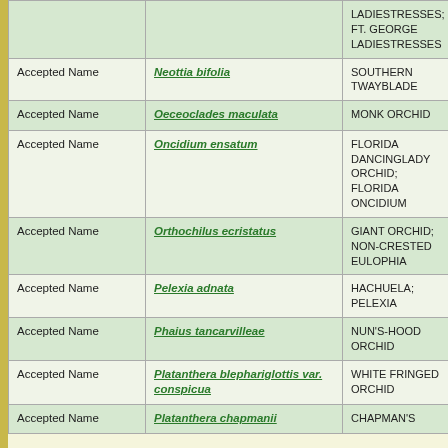|  |  | LADIESTRESSES; FT. GEORGE LADIESTRESSES |  |
| --- | --- | --- | --- |
| Accepted Name | Neottia bifolia | SOUTHERN TWAYBLADE | O |
| Accepted Name | Oeceoclades maculata | MONK ORCHID | O |
| Accepted Name | Oncidium ensatum | FLORIDA DANCINGLADY ORCHID; FLORIDA ONCIDIUM | O |
| Accepted Name | Orthochilus ecristatus | GIANT ORCHID; NON-CRESTED EULOPHIA | O |
| Accepted Name | Pelexia adnata | HACHUELA; PELEXIA | O |
| Accepted Name | Phaius tancarvilleae | NUN'S-HOOD ORCHID | O |
| Accepted Name | Platanthera blephariglottis var. conspicua | WHITE FRINGED ORCHID | O |
| Accepted Name | Platanthera chapmanii | CHAPMAN'S | O |